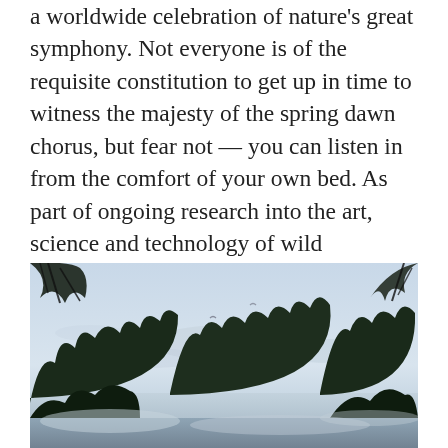a worldwide celebration of nature's great symphony. Not everyone is of the requisite constitution to get up in time to witness the majesty of the spring dawn chorus, but fear not — you can listen in from the comfort of your own bed. As part of ongoing research into the art, science and technology of wild soundscapes we have installed a high-fidelity, DIY, off-grid live audio transmitter at Knepp Wilding Project in West Sussex.
[Figure (photo): Landscape photo of a misty wetland or lake at dawn, with silhouetted trees and bushes in the foreground and a pale blue-grey sky above.]